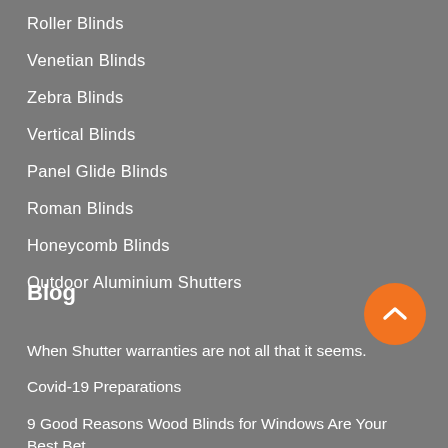Roller Blinds
Venetian Blinds
Zebra Blinds
Vertical Blinds
Panel Glide Blinds
Roman Blinds
Honeycomb Blinds
Outdoor Aluminium Shutters
Blog
When Shutter warranties are not all that it seems.
Covid-19 Preparations
9 Good Reasons Wood Blinds for Windows Are Your Best Bet